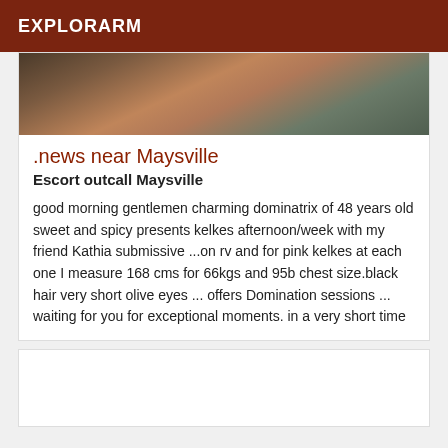EXPLORARM
[Figure (photo): Cropped photo showing person's legs/lower body near a stone wall background]
.news near Maysville
Escort outcall Maysville
good morning gentlemen charming dominatrix of 48 years old sweet and spicy presents kelkes afternoon/week with my friend Kathia submissive ...on rv and for pink kelkes at each one I measure 168 cms for 66kgs and 95b chest size.black hair very short olive eyes ... offers Domination sessions ... waiting for you for exceptional moments. in a very short time